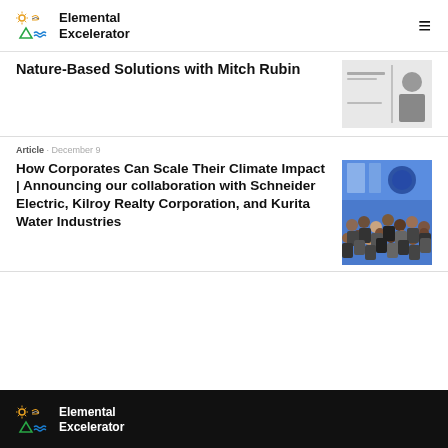Elemental Excelerator
Nature-Based Solutions with Mitch Rubin
Article · December 9
How Corporates Can Scale Their Climate Impact | Announcing our collaboration with Schneider Electric, Kilroy Realty Corporation, and Kurita Water Industries
[Figure (photo): Group photo of many people at an event with blue backdrop]
Elemental Excelerator